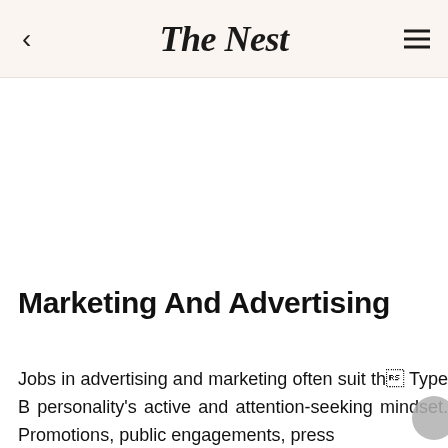The Nest
Marketing And Advertising
Jobs in advertising and marketing often suit the Type B personality's active and attention-seeking mindset. Promotions, public engagements, press...